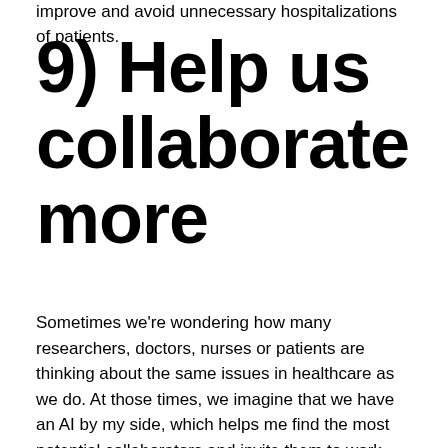improve and avoid unnecessary hospitalizations of patients.
9) Help us collaborate more
Sometimes we're wondering how many researchers, doctors, nurses or patients are thinking about the same issues in healthcare as we do. At those times, we imagine that we have an AI by my side, which helps me find the most potential collaborators and invite them to work together with me for a better future.
Clinical and research collaborations are crucial to find the